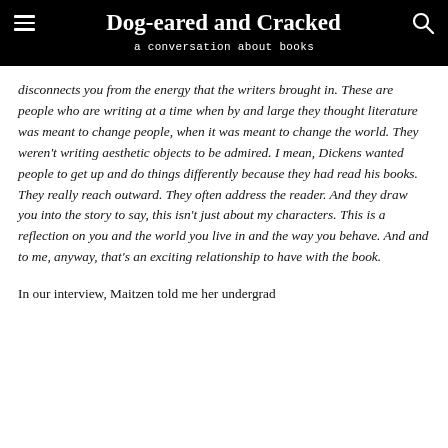Dog-eared and Cracked
a conversation about books
disconnects you from the energy that the writers brought in. These are people who are writing at a time when by and large they thought literature was meant to change people, when it was meant to change the world. They weren't writing aesthetic objects to be admired. I mean, Dickens wanted people to get up and do things differently because they had read his books. They really reach outward. They often address the reader. And they draw you into the story to say, this isn't just about my characters. This is a reflection on you and the world you live in and the way you behave. And and to me, anyway, that's an exciting relationship to have with the book.
In our interview, Maitzen told me her undergrad